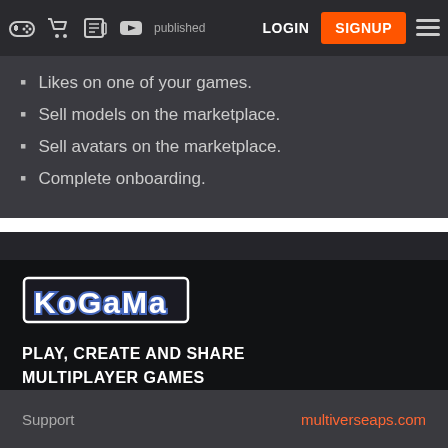LOGIN | SIGNUP
Likes on one of your games.
Sell models on the marketplace.
Sell avatars on the marketplace.
Complete onboarding.
[Figure (logo): KoGaMa logo in bold stylized white text with blue outline on dark background]
PLAY, CREATE AND SHARE
MULTIPLAYER GAMES
[Figure (infographic): Row of social media icons: Discord (purple), Facebook (blue), Instagram (grey-blue), YouTube (red), Twitter (teal-blue), LinkedIn (blue), RSS (orange), and a book/guide icon (orange with book)]
Support
multiverseaps.com